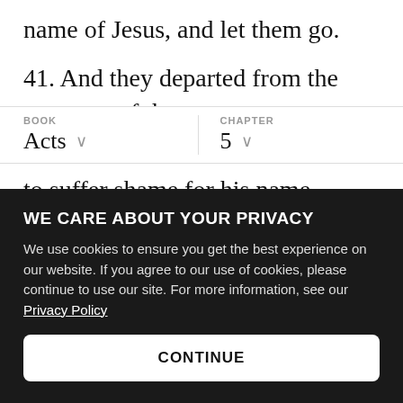name of Jesus, and let them go.
41. And they departed from the presence of the
BOOK: Acts   CHAPTER: 5
to suffer shame for his name.
42. And daily in the temple, and in every house, they ceased not to teach and preach Jesus Christ
WE CARE ABOUT YOUR PRIVACY
We use cookies to ensure you get the best experience on our website. If you agree to our use of cookies, please continue to use our site. For more information, see our Privacy Policy
CONTINUE